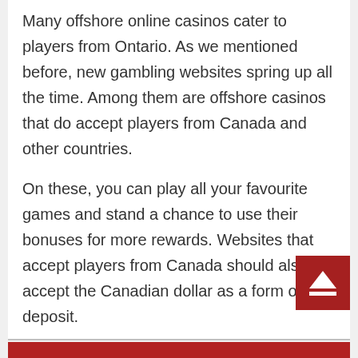Many offshore online casinos cater to players from Ontario. As we mentioned before, new gambling websites spring up all the time. Among them are offshore casinos that do accept players from Canada and other countries.
On these, you can play all your favourite games and stand a chance to use their bonuses for more rewards. Websites that accept players from Canada should also accept the Canadian dollar as a form of deposit.
As such, users aren’t inconvenienced by not being able to use the website once they’ve joined. You can find a list of the best offshore websites for Canadian gamers on our site.